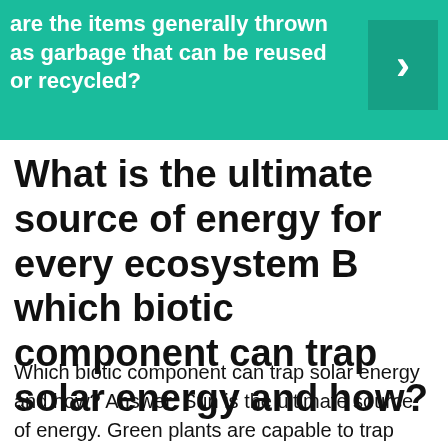are the items generally thrown as garbage that can be reused or recycled?
What is the ultimate source of energy for every ecosystem B which biotic component can trap solar energy and how?
Which biotic component can trap solar energy and how? Answer: Sun is the ultimate source of energy. Green plants are capable to trap solar energy by leaves in the process called photosynthesis, using water and C02 in the presence of sunlight.